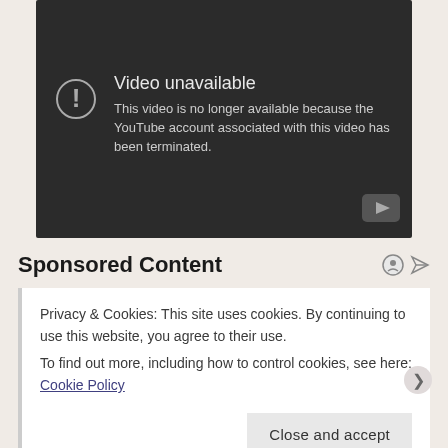[Figure (screenshot): YouTube video unavailable error screen with dark background showing exclamation icon, 'Video unavailable' title, and message 'This video is no longer available because the YouTube account associated with this video has been terminated.' YouTube logo in bottom right corner.]
Sponsored Content
Privacy & Cookies: This site uses cookies. By continuing to use this website, you agree to their use.
To find out more, including how to control cookies, see here: Cookie Policy
Close and accept